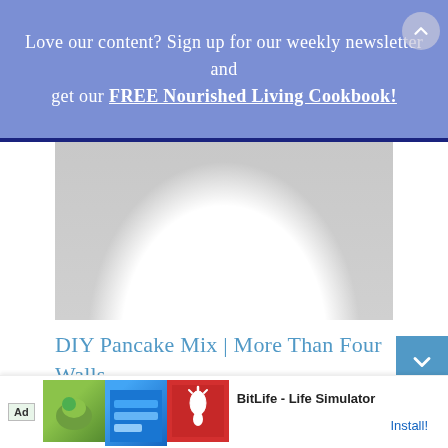Love our content? Sign up for our weekly newsletter and get our FREE Nourished Living Cookbook!
[Figure (photo): Partially visible food/pancake image with large circular highlight in center, gray background, shown as a blurred placeholder image]
DIY Pancake Mix | More Than Four Walls
April 14, 2012 at 6:10 AM
[...] read more visit my contributing post at M...
[Figure (other): Ad banner: BitLife - Life Simulator app advertisement with Install button]